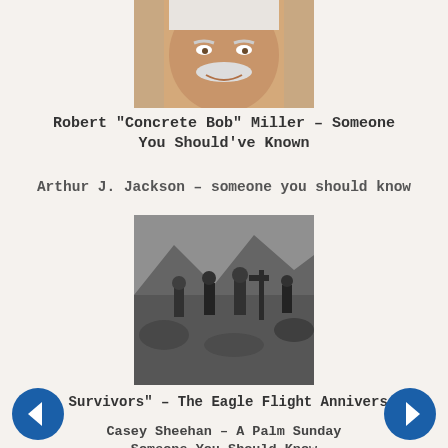[Figure (photo): Close-up photo of an elderly man with white hair and a white mustache, smiling, cropped at top of page]
Robert "Concrete Bob" Miller – Someone You Should've Known
Arthur J. Jackson – someone you should know
[Figure (photo): Black and white historical photo of soldiers in a rocky mountainous terrain with military equipment]
"No Survivors" – The Eagle Flight Anniversary
Casey Sheehan – A Palm Sunday Someone You Should Know